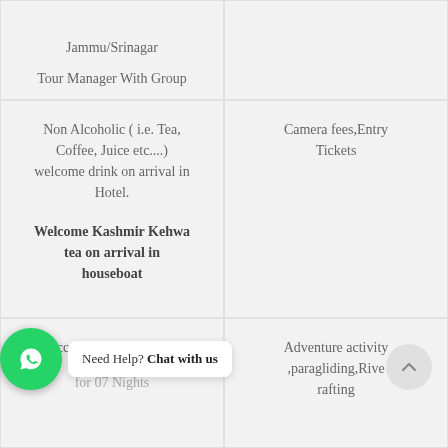Jammu/Srinagar
Tour Manager With Group
Non Alcoholic ( i.e. Tea, Coffee, Juice etc....) welcome drink on arrival in Hotel.

Welcome Kashmir Kehwa tea on arrival in houseboat
Camera fees,Entry Tickets
Accommodation for 01

for 07 Nights
Adventure activity ,paragliding,Rive rafting